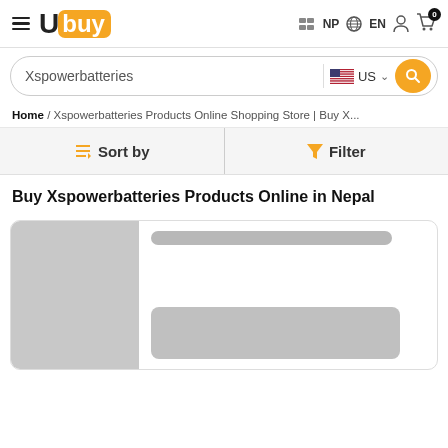Ubuy — NP EN [user icon] [cart 0]
Xspowerbatteries US [search button]
Home / Xspowerbatteries Products Online Shopping Store | Buy X...
Sort by   Filter
Buy Xspowerbatteries Products Online in Nepal
[Figure (screenshot): Product card with grey image placeholder on left and grey content placeholder bars on right]